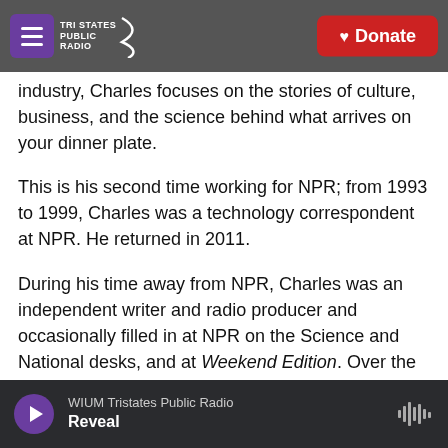Tri States Public Radio | Donate
industry, Charles focuses on the stories of culture, business, and the science behind what arrives on your dinner plate.
This is his second time working for NPR; from 1993 to 1999, Charles was a technology correspondent at NPR. He returned in 2011.
During his time away from NPR, Charles was an independent writer and radio producer and occasionally filled in at NPR on the Science and National desks, and at Weekend Edition. Over the course of his career Charles has reported on software engineers in India, fertilizer use in China, dengue fever in Peru, alternative medicine in Germany, and efforts to turn around a troubled school in
WIUM Tristates Public Radio
Reveal